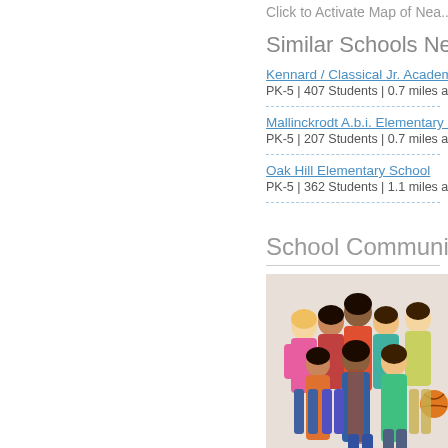Click to Activate Map of Nea...
Similar Schools Nearby
Kennard / Classical Jr. Academy
PK-5 | 407 Students | 0.7 miles away
Mallinckrodt A.b.i. Elementary S...
PK-5 | 207 Students | 0.7 miles away
Oak Hill Elementary School
PK-5 | 362 Students | 1.1 miles away
School Community...
[Figure (photo): Group of diverse teenagers/students posing together, some holding books and a basketball]
0 Comments   Local Sc...